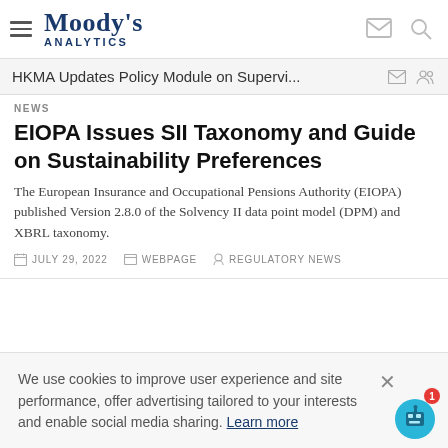Moody's Analytics
HKMA Updates Policy Module on Supervi...
NEWS
EIOPA Issues SII Taxonomy and Guide on Sustainability Preferences
The European Insurance and Occupational Pensions Authority (EIOPA) published Version 2.8.0 of the Solvency II data point model (DPM) and XBRL taxonomy.
JULY 29, 2022   WEBPAGE   REGULATORY NEWS
We use cookies to improve user experience and site performance, offer advertising tailored to your interests and enable social media sharing. Learn more